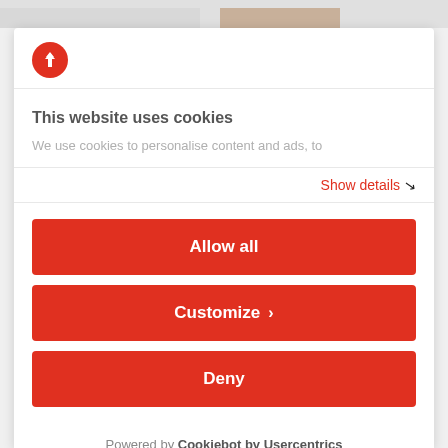[Figure (logo): Red circular logo with white arrow/lightning bolt icon]
This website uses cookies
We use cookies to personalise content and ads, to
Show details
Allow all
Customize
Deny
Powered by Cookiebot by Usercentrics